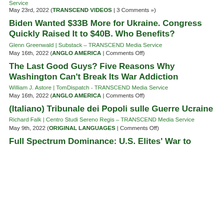Service
May 23rd, 2022 (TRANSCEND VIDEOS | 3 Comments »)
Biden Wanted $33B More for Ukraine. Congress Quickly Raised It to $40B. Who Benefits?
Glenn Greenwald | Substack – TRANSCEND Media Service
May 16th, 2022 (ANGLO AMERICA | Comments Off)
The Last Good Guys? Five Reasons Why Washington Can't Break Its War Addiction
William J. Astore | TomDispatch - TRANSCEND Media Service
May 16th, 2022 (ANGLO AMERICA | Comments Off)
(Italiano) Tribunale dei Popoli sulle Guerre Ucraine
Richard Falk | Centro Studi Sereno Regis – TRANSCEND Media Service
May 9th, 2022 (ORIGINAL LANGUAGES | Comments Off)
Full Spectrum Dominance: U.S. Elites' War to